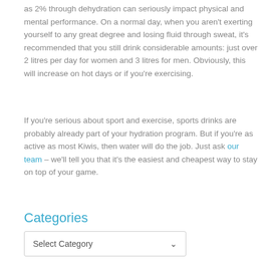as 2% through dehydration can seriously impact physical and mental performance. On a normal day, when you aren't exerting yourself to any great degree and losing fluid through sweat, it's recommended that you still drink considerable amounts: just over 2 litres per day for women and 3 litres for men. Obviously, this will increase on hot days or if you're exercising.
If you're serious about sport and exercise, sports drinks are probably already part of your hydration program. But if you're as active as most Kiwis, then water will do the job. Just ask our team – we'll tell you that it's the easiest and cheapest way to stay on top of your game.
Categories
Select Category